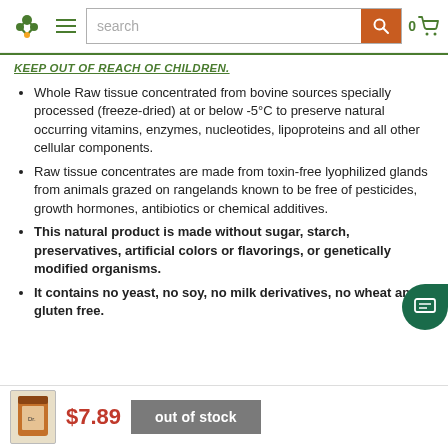Navigation bar with logo, hamburger menu, search bar, and cart
KEEP OUT OF REACH OF CHILDREN.
Whole Raw tissue concentrated from bovine sources specially processed (freeze-dried) at or below -5°C to preserve natural occurring vitamins, enzymes, nucleotides, lipoproteins and all other cellular components.
Raw tissue concentrates are made from toxin-free lyophilized glands from animals grazed on rangelands known to be free of pesticides, growth hormones, antibiotics or chemical additives.
This natural product is made without sugar, starch, preservatives, artificial colors or flavorings, or genetically modified organisms.
It contains no yeast, no soy, no milk derivatives, no wheat and is gluten free.
$7.89  out of stock